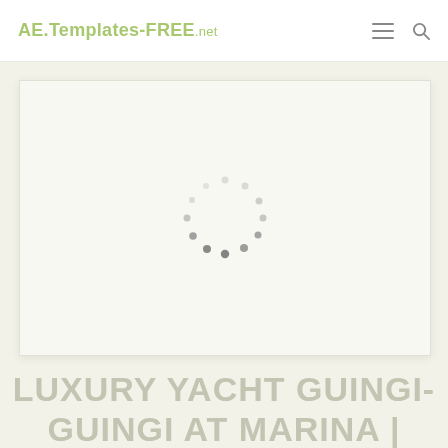AE.Templates-FREE.net
[Figure (screenshot): A loading spinner (circular dots) displayed inside a white/cream video placeholder box with a light border and shadow, on a pale cream background.]
LUXURY YACHT GUINGI-GUINGI AT MARINA | FREE